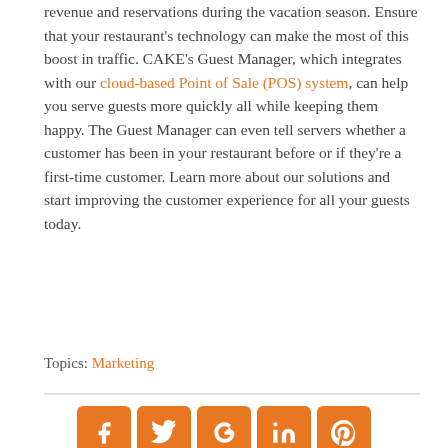revenue and reservations during the vacation season. Ensure that your restaurant's technology can make the most of this boost in traffic. CAKE's Guest Manager, which integrates with our cloud-based Point of Sale (POS) system, can help you serve guests more quickly all while keeping them happy. The Guest Manager can even tell servers whether a customer has been in your restaurant before or if they're a first-time customer. Learn more about our solutions and start improving the customer experience for all your guests today.
Topics: Marketing
[Figure (other): Social media share icons: Facebook, Twitter, Google+, LinkedIn, Pinterest — all in orange rounded square buttons]